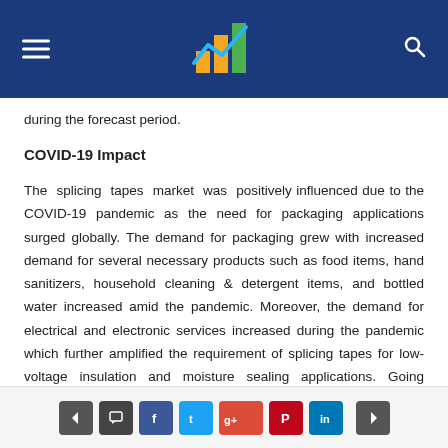Website header with logo, hamburger menu, and search icon
during the forecast period.
COVID-19 Impact
The splicing tapes market was positively influenced due to the COVID-19 pandemic as the need for packaging applications surged globally. The demand for packaging grew with increased demand for several necessary products such as food items, hand sanitizers, household cleaning & detergent items, and bottled water increased amid the pandemic. Moreover, the demand for electrical and electronic services increased during the pandemic which further amplified the requirement of splicing tapes for low-voltage insulation and moisture sealing applications. Going forward, the
Navigation and social share buttons: prev, comment, facebook, twitter, google+, pinterest, linkedin, next